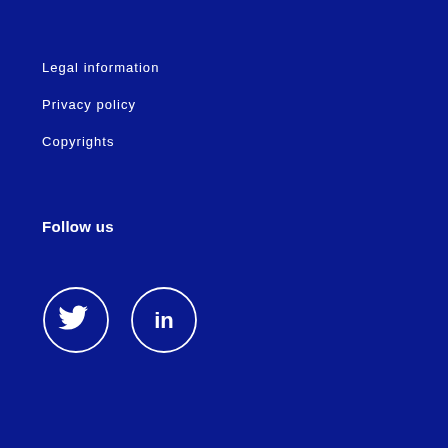Legal information
Privacy policy
Copyrights
Follow us
[Figure (illustration): Twitter bird icon in a white circle outline and LinkedIn 'in' icon in a white circle outline, on dark blue background]